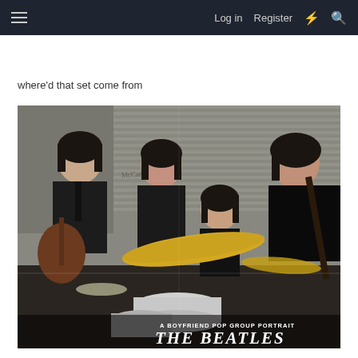Log in   Register
where'd that set come from
[Figure (photo): Vintage color photograph of The Beatles performing, signed with autographs. Four young men in dark suits: Paul McCartney on left with guitar, George Harrison center-left, Ringo Starr seated at drum kit in center, John Lennon on right with guitar. Bottom right corner shows text 'A BOYFRIEND POP GROUP PORTRAIT' and 'THE BEATLES' in large white lettering. Photo appears aged/folded with visible creases.]